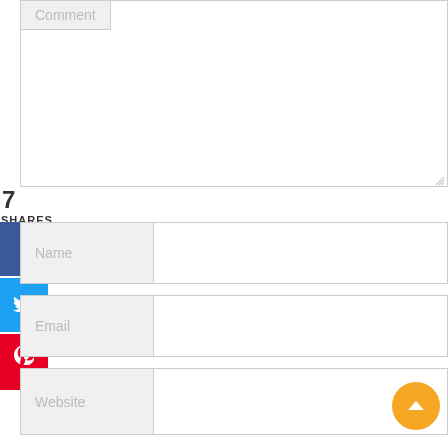Comment
7
SHARES
[Figure (infographic): Social share sidebar with Facebook, Twitter, and Pinterest buttons. Facebook shows an 'f' icon, Twitter shows a bird icon, Pinterest shows a pin icon with count 7.]
Name
Email
Website